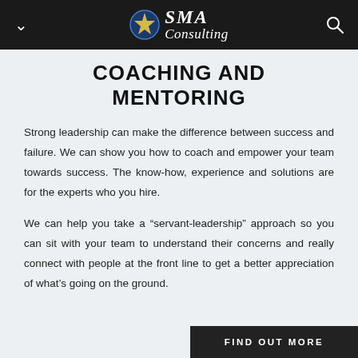SMA Consulting — Navigation bar with logo, chevron menu and search icon
COACHING AND MENTORING
Strong leadership can make the difference between success and failure. We can show you how to coach and empower your team towards success. The know-how, experience and solutions are for the experts who you hire.
We can help you take a “servant-leadership” approach so you can sit with your team to understand their concerns and really connect with people at the front line to get a better appreciation of what’s going on the ground.
FIND OUT MORE